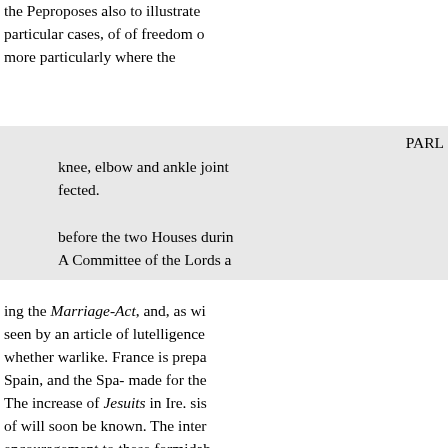the Peproposes also to illustrate particular cases, of of freedom or more particularly where the
PARL
knee, elbow and ankle joints fected.
before the two Houses during A Committee of the Lords a
ing the Marriage-Act, and, as wi seen by an article of Intelligence whether warlike. France is prepa Spain, and the Spa- made for the The increase of Jesuits in Ire. sis of will soon be known. The inter encouragement to these formidab the fears of some worthy have fo the most virtuous and eloquent o Government been proposed, and Recess. - Lord ARCHIBALD cru Mr. Bowspecimen was exhibited party of the Na- HUTCHINSON